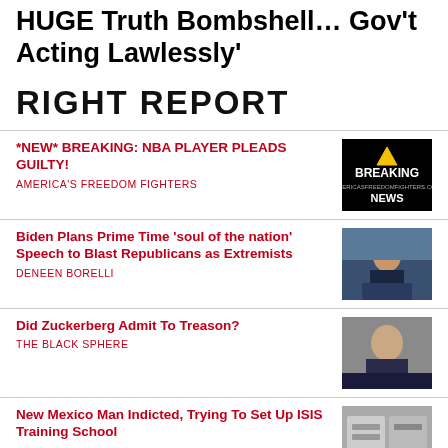HUGE Truth Bombshell… Gov't Acting Lawlessly'
RIGHT REPORT
*NEW* BREAKING: NBA PLAYER PLEADS GUILTY!
AMERICA'S FREEDOM FIGHTERS
[Figure (photo): Breaking News graphic with yellow triangle logo and text AMERICASFREEDOMFIGHTERS.COM]
Biden Plans Prime Time ‘soul of the nation’ Speech to Blast Republicans as Extremists
DENEEN BORELLI
[Figure (photo): Photo of Biden speaking at podium with crowd behind him]
Did Zuckerberg Admit To Treason?
THE BLACK SPHERE
[Figure (photo): Photo of Mark Zuckerberg in suit looking serious]
New Mexico Man Indicted, Trying To Set Up ISIS Training School
[Figure (photo): Photo related to New Mexico indictment story]